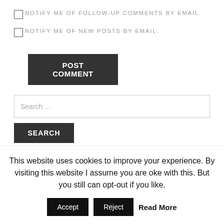NOTIFY ME OF FOLLOW-UP COMMENTS BY EMAIL.
NOTIFY ME OF NEW POSTS BY EMAIL.
POST COMMENT
Search ...
SEARCH
CATEGORIES
This website uses cookies to improve your experience. By visiting this website I assume you are oke with this. But you still can opt-out if you like.